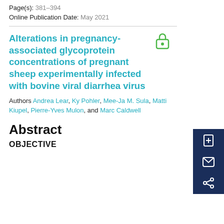Page(s): 381–394
Online Publication Date: May 2021
Alterations in pregnancy-associated glycoprotein concentrations of pregnant sheep experimentally infected with bovine viral diarrhea virus
Authors Andrea Lear, Ky Pohler, Mee-Ja M. Sula, Matti Kiupel, Pierre-Yves Mulon, and Marc Caldwell
Abstract
OBJECTIVE